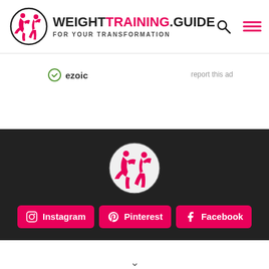[Figure (logo): WeightTraining.Guide logo with silhouette figures in a circle and text WEIGHTTRAINING.GUIDE FOR YOUR TRANSFORMATION]
[Figure (logo): Ezoic logo badge with report this ad link]
[Figure (logo): WeightTraining.Guide circular logo on dark background footer]
Instagram
Pinterest
Facebook